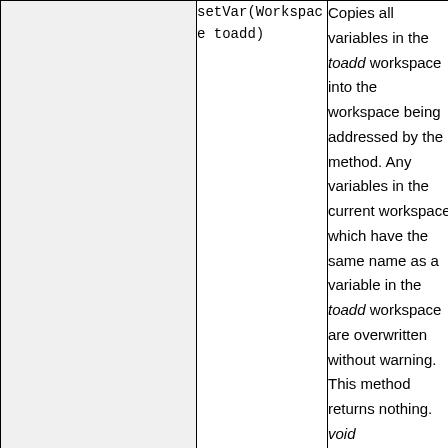|  | setVar(Workspace toadd) | Copies all variables in the toadd workspace into the workspace being addressed by the method. Any variables in the current workspace which have the same name as a variable in the toadd workspace are overwritten without warning. This method returns nothing. void setVar(Workspace toadd) |